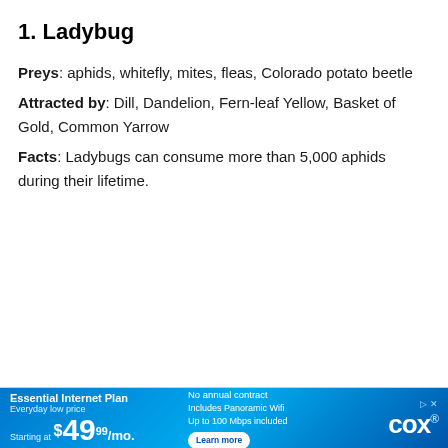1. Ladybug
Preys: aphids, whitefly, mites, fleas, Colorado potato beetle
Attracted by: Dill, Dandelion, Fern-leaf Yellow, Basket of Gold, Common Yarrow
Facts: Ladybugs can consume more than 5,000 aphids during their lifetime.
[Figure (other): Cox Communications advertisement banner: Essential Internet Plan, Everyday low price, Starting at $49.99/mo. No annual contract, Includes Panoramic Wifi, Up to 100 Mbps included. Learn more. Cox logo.]